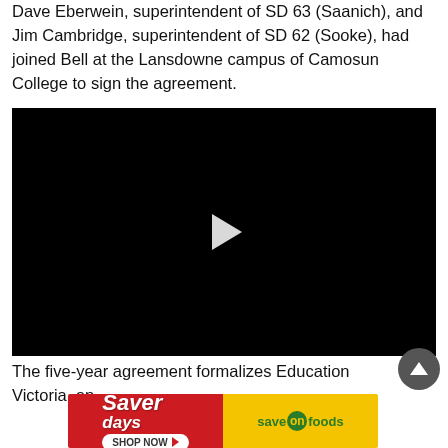Dave Eberwein, superintendent of SD 63 (Saanich), and Jim Cambridge, superintendent of SD 62 (Sooke), had joined Bell at the Lansdowne campus of Camosun College to sign the agreement.
[Figure (screenshot): Black video player with white play button triangle in the center]
The five-year agreement formalizes Education Victoria, an
[Figure (illustration): Save-On Foods advertisement banner: red left half with 'Saver days' text and 'SHOP NOW' button, yellow right half with 'save on foods' logo]